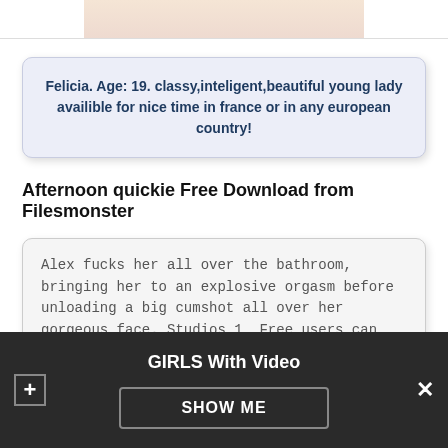[Figure (illustration): Partial illustration of a person visible at the top of the page, cut off]
Felicia. Age: 19. classy,inteligent,beautiful young lady availible for nice time in france or in any european country!
Afternoon quickie Free Download from Filesmonster
Alex fucks her all over the bathroom, bringing her to an explosive orgasm before unloading a big cumshot all over her gorgeous face. Studios 1, Free users can watch 30 short previews per 24 hours. Afternoon quickie - Big boobs Add to favorites. File size:
GIRLS With Video  SHOW ME